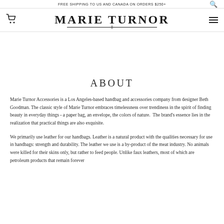FREE SHIPPING TO US AND CANADA ON ORDERS $250+
MARIE TURNOR
ABOUT
Marie Turnor Accessories is a Los Angeles-based handbag and accessories company from designer Beth Goodman. The classic style of Marie Turnor embraces timelessness over trendiness in the spirit of finding beauty in everyday things - a paper bag, an envelope, the colors of nature.  The brand's essence lies in the realization that practical things are also exquisite.
We primarily use leather for our handbags. Leather is a natural product with the qualities necessary for use in handbags: strength and durability. The leather we use is a by-product of the meat industry. No animals were killed for their skins only, but rather to feed people. Unlike faux leathers, most of which are petroleum products that remain forever